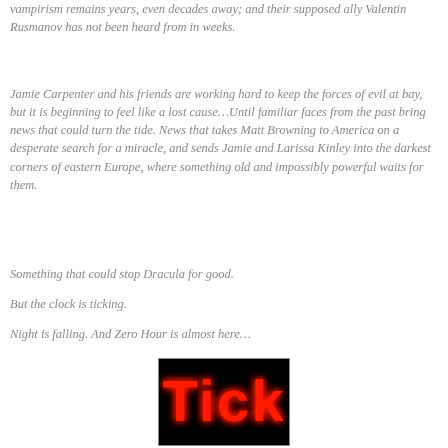vampirism remains years, even decades away; and their supposed ally Valentin Rusmanov has not been heard from in weeks.
Jamie Carpenter and his friends are working hard to keep the forces of evil at bay, but it is beginning to feel like a lost cause…Until familiar faces from the past bring news that could turn the tide. News that takes Matt Browning to America on a desperate search for a miracle, and sends Jamie and Larissa Kinley into the darkest corners of eastern Europe, where something old and impossibly powerful waits for them.
Something that could stop Dracula for good.
But the clock is ticking.
Night is falling. And Zero Hour is almost here…
[Figure (illustration): Black background image with glowing red text reading 'Tick' in bold letters with a red glow effect]